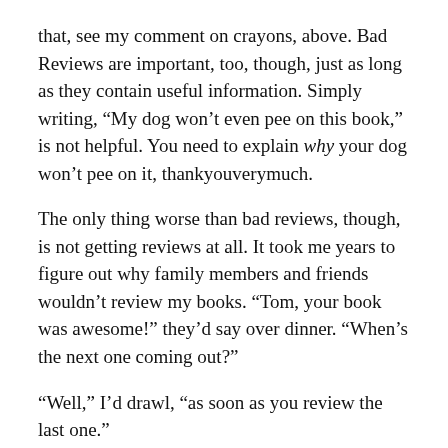that, see my comment on crayons, above. Bad Reviews are important, too, though, just as long as they contain useful information. Simply writing, “My dog won’t even pee on this book,” is not helpful. You need to explain why your dog won’t pee on it, thankyouverymuch.
The only thing worse than bad reviews, though, is not getting reviews at all. It took me years to figure out why family members and friends wouldn’t review my books. “Tom, your book was awesome!” they’d say over dinner. “When’s the next one coming out?”
“Well,” I’d drawl, “as soon as you review the last one.”
Crickets.
For months.
Why? There are two main reasons people don’t write reviews: